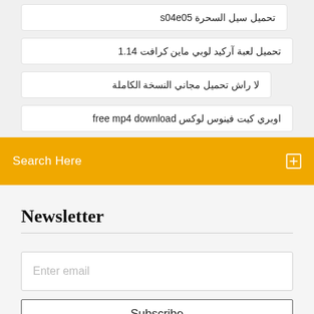تحميل سيل السحرة s04e05
تحميل لعبة آركيد لوبي ماين كرافت 1.14
لا راش تحميل مجاني النسخة الكاملة
اوبري كيت فينوس لوكس free mp4 download
Search Here
Newsletter
Enter email
Subscribe